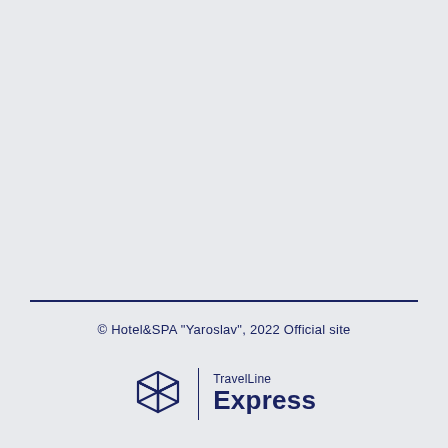© Hotel&SPA "Yaroslav", 2022 Official site
[Figure (logo): TravelLine Express logo: a dark navy cube/box icon on the left, a vertical divider line, then text 'TravelLine' in small above 'Express' in large bold navy font.]